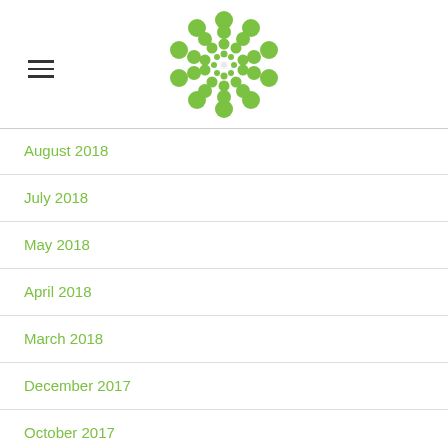[Figure (logo): Green circular dot-pattern logo made of many green circles arranged in a flower/sunflower pattern]
August 2018
July 2018
May 2018
April 2018
March 2018
December 2017
October 2017